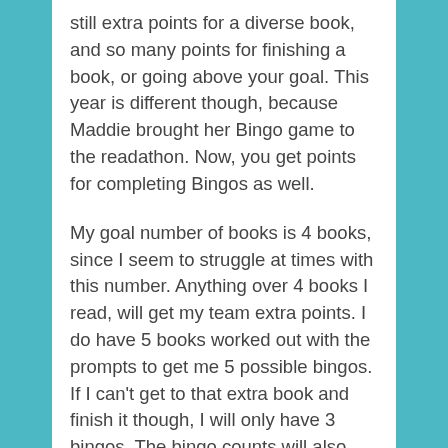still extra points for a diverse book, and so many points for finishing a book, or going above your goal. This year is different though, because Maddie brought her Bingo game to the readathon. Now, you get points for completing Bingos as well.
My goal number of books is 4 books, since I seem to struggle at times with this number. Anything over 4 books I read, will get my team extra points. I do have 5 books worked out with the prompts to get me 5 possible bingos. If I can't get to that extra book and finish it though, I will only have 3 bingos. The bingo counts will also change if I am unable to get one of the non-reading promps she has on the bingo board.